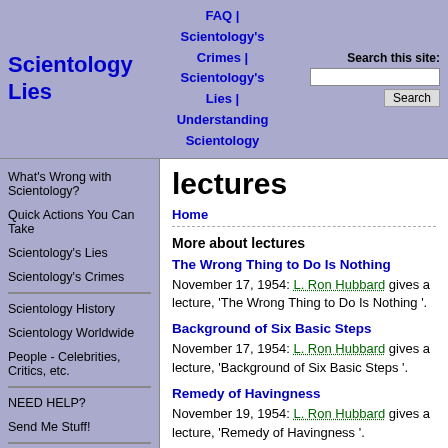Scientology Lies | FAQ | Scientology's Crimes | Scientology's Lies | Understanding Scientology | Search this site:
lectures
Home
More about lectures
The Wrong Thing to Do Is Nothing
November 17, 1954: L. Ron Hubbard gives a lecture, 'The Wrong Thing to Do Is Nothing '.
Background of Six Basic Steps
November 17, 1954: L. Ron Hubbard gives a lecture, 'Background of Six Basic Steps '.
Remedy of Havingness
November 19, 1954: L. Ron Hubbard gives a lecture, 'Remedy of Havingness '.
What's Wrong with Scientology?
Quick Actions You Can Take
Scientology's Lies
Scientology's Crimes
Scientology History
Scientology Worldwide
People - Celebrities, Critics, etc.
NEED HELP?
Send Me Stuff!
The Human Face of Scientology
If You're A Scientologist